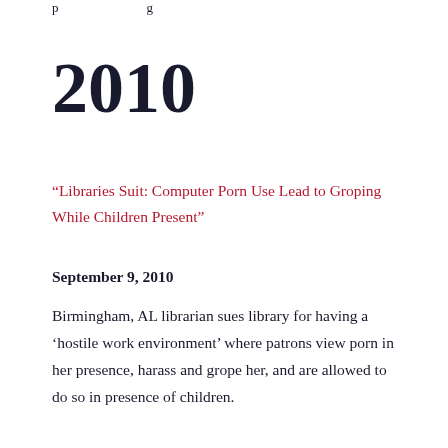p                    g
2010
“Libraries Suit: Computer Porn Use Lead to Groping While Children Present”
September 9, 2010
Birmingham, AL librarian sues library for having a ‘hostile work environment’ where patrons view porn in her presence, harass and grope her, and are allowed to do so in presence of children.